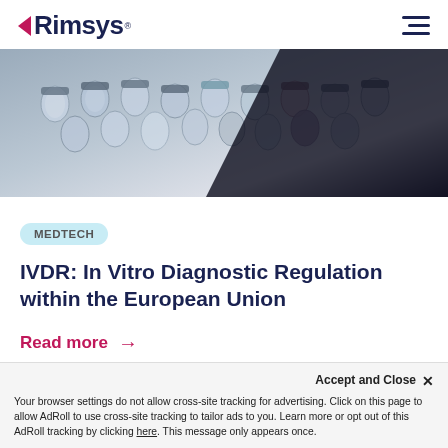Rimsys
[Figure (photo): Close-up photo of laboratory vials/sample tubes arranged in rows, blurred with dark background in lower right corner]
MEDTECH
IVDR: In Vitro Diagnostic Regulation within the European Union
Read more →
Accept and Close ✕
Your browser settings do not allow cross-site tracking for advertising. Click on this page to allow AdRoll to use cross-site tracking to tailor ads to you. Learn more or opt out of this AdRoll tracking by clicking here. This message only appears once.